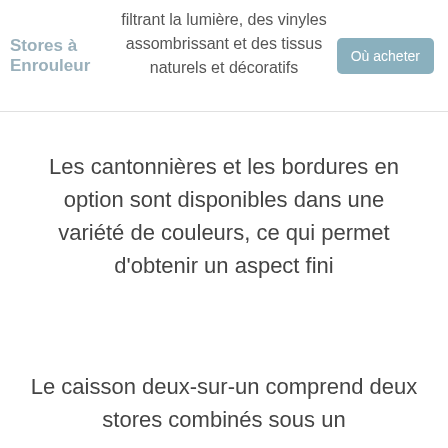Stores à Enrouleur
filtrant la lumière, des vinyles assombrissant et des tissus naturels et décoratifs
Où acheter
Les cantonnières et les bordures en option sont disponibles dans une variété de couleurs, ce qui permet d'obtenir un aspect fini
Le caisson deux-sur-un comprend deux stores combinés sous un